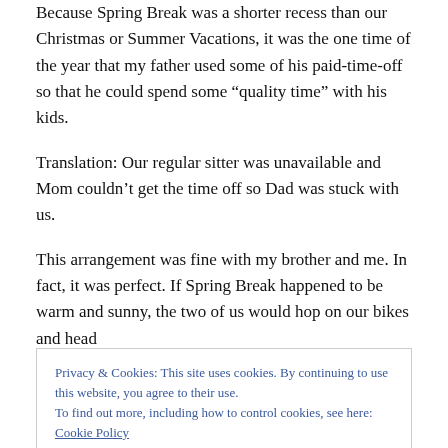Because Spring Break was a shorter recess than our Christmas or Summer Vacations, it was the one time of the year that my father used some of his paid-time-off so that he could spend some “quality time” with his kids.
Translation: Our regular sitter was unavailable and Mom couldn’t get the time off so Dad was stuck with us.
This arrangement was fine with my brother and me. In fact, it was perfect. If Spring Break happened to be warm and sunny, the two of us would hop on our bikes and head
Privacy & Cookies: This site uses cookies. By continuing to use this website, you agree to their use.
To find out more, including how to control cookies, see here: Cookie Policy
Close and accept
home before we did, we’d all be busted (Dad included).